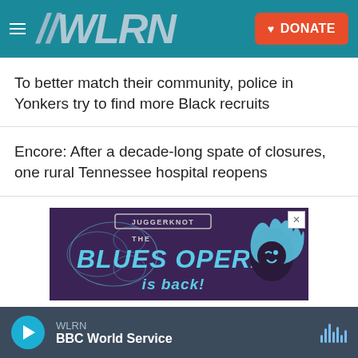WLRN — DONATE
To better match their community, police in Yonkers try to find more Black recruits
Encore: After a decade-long spate of closures, one rural Tennessee hospital reopens
[Figure (photo): Advertisement for 'The Blues Opera - is back' by Juggerknot Theatre Company, dark purple background with blue flame cartoon character]
WLRN — BBC World Service (audio player bar)